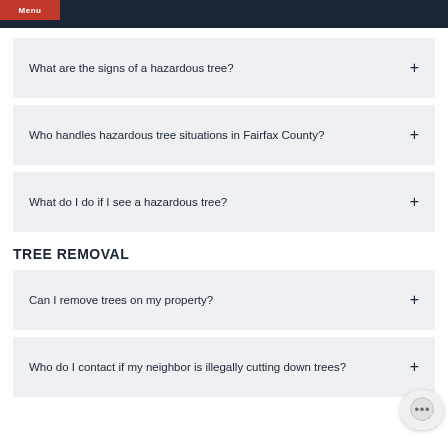Menu
What are the signs of a hazardous tree?
Who handles hazardous tree situations in Fairfax County?
What do I do if I see a hazardous tree?
TREE REMOVAL
Can I remove trees on my property?
Who do I contact if my neighbor is illegally cutting down trees?